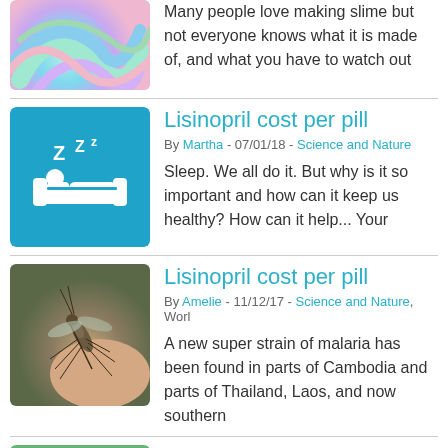[Figure (photo): Colorful slime swirled in pastel rainbow colors on a wooden surface]
Many people love making slime but not everyone knows what it is made of, and what you have to watch out
Lisinopril cost per pill
By Martha - 07/01/18 - Science and Nature
[Figure (illustration): Blue icon with ZZz and a person sleeping in a bed]
Sleep. We all do it. But why is it so important and how can it keep us healthy? How can it help... Your
Lisinopril cost per pill
By Amelie - 11/12/17 - Science and Nature, Worl
[Figure (photo): Close-up photo of a mosquito on human skin]
A new super strain of malaria has been found in parts of Cambodia and parts of Thailand, Laos, and now southern
Lisinopril cost per pill
[Figure (photo): Green water or field in background]